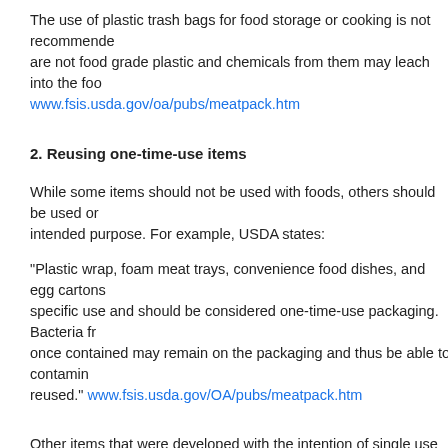The use of plastic trash bags for food storage or cooking is not recommended. They are not food grade plastic and chemicals from them may leach into the food. www.fsis.usda.gov/oa/pubs/meatpack.htm
2. Reusing one-time-use items
While some items should not be used with foods, others should be used only for their intended purpose. For example, USDA states:
"Plastic wrap, foam meat trays, convenience food dishes, and egg cartons are made for a specific use and should be considered one-time-use packaging. Bacteria from the food they once contained may remain on the packaging and thus be able to contaminate food if reused." www.fsis.usda.gov/OA/pubs/meatpack.htm
Other items that were developed with the intention of single use include the
-Single-use plastic water bottles
It is better to buy a reusable water bottle and use that instead of reusing a bottle. The plastic water bottles in which water is sold are intended for single service. They are thin and are not meant for multiple cleanings. They may not hold up under the heat required to remove lipstick, etc.